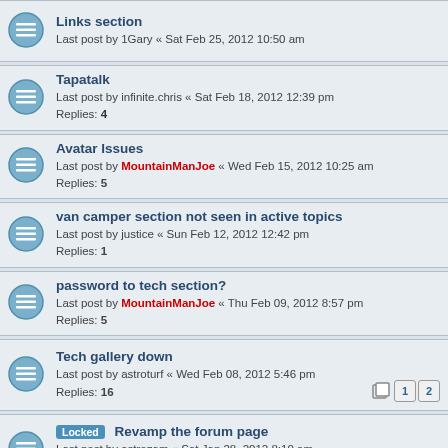Links section
Last post by 1Gary « Sat Feb 25, 2012 10:50 am
Tapatalk
Last post by infinite.chris « Sat Feb 18, 2012 12:39 pm
Replies: 4
Avatar Issues
Last post by MountainManJoe « Wed Feb 15, 2012 10:25 am
Replies: 5
van camper section not seen in active topics
Last post by justice « Sun Feb 12, 2012 12:42 pm
Replies: 1
password to tech section?
Last post by MountainManJoe « Thu Feb 09, 2012 8:57 pm
Replies: 5
Tech gallery down
Last post by astroturf « Wed Feb 08, 2012 5:46 pm
Replies: 16
Locked Revamp the forum page
Last post by astrozam « Sat Jan 28, 2012 8:10 am
Replies: 33
links list
Last post by astrozam « Wed Nov 02, 2011 6:57 pm
Replies: 1
negative unread messages
Last post by astrozam « Fri Jul 08, 2011 9:00 am
Replies: 8